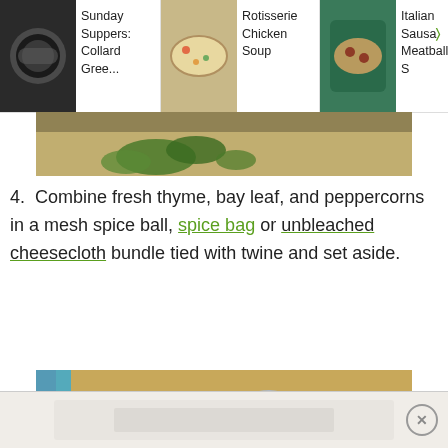[Figure (screenshot): Navigation bar with three recipe thumbnails: 'Sunday Suppers: Collard Gree...', 'Rotisserie Chicken Soup', and 'Italian Sausage Meatball S...' with food photos]
[Figure (photo): Partial top image of herbs/greens on wooden cutting board]
4. Combine fresh thyme, bay leaf, and peppercorns in a mesh spice ball, spice bag or unbleached cheesecloth bundle tied with twine and set aside.
[Figure (photo): Metal mesh spice ball infuser with bay leaf, fresh thyme, and peppercorns on a wooden cutting board. Green search FAB button in lower right corner.]
[Figure (photo): Bottom advertisement bar with close button (X)]